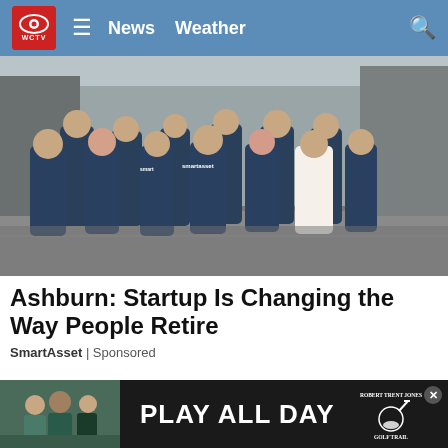WCTV News Weather
[Figure (photo): Group of people wearing SmartAsset branded t-shirts standing on a cobblestone street in an urban setting]
Ashburn: Startup Is Changing the Way People Retire
SmartAsset | Sponsored
[Figure (photo): Advertisement banner reading PLAY ALL DAY with Robert Trent Jones Golf Trail logo]